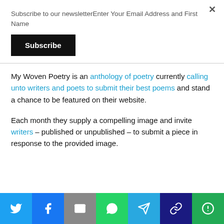Subscribe to our newsletterEnter Your Email Address and First Name
Subscribe
My Woven Poetry is an anthology of poetry currently calling unto writers and poets to submit their best poems and stand a chance to be featured on their website.
Each month they supply a compelling image and invite writers – published or unpublished – to submit a piece in response to the provided image.
[Figure (infographic): Social share bar with Twitter, Facebook, Email, WhatsApp, Telegram, Link, and other icons]